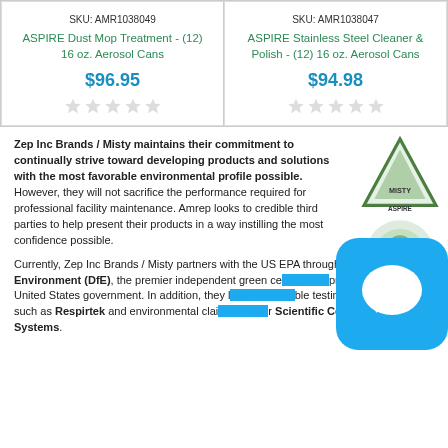SKU: AMR1038049
ASPIRE Dust Mop Treatment - (12) 16 oz. Aerosol Cans
$96.95
SKU: AMR1038047
ASPIRE Stainless Steel Cleaner & Polish - (12) 16 oz. Aerosol Cans
$94.98
Zep Inc Brands / Misty maintains their commitment to continually strive toward developing products and solutions with the most favorable environmental profile possible. However, they will not sacrifice the performance required for professional facility maintenance. Amrep looks to credible third parties to help present their products in a way instilling the most confidence possible.
Currently, Zep Inc Brands / Misty partners with the US EPA through Design for the Environment (DfE), the premier independent green certification program from the United States government. In addition, they look to reputable testing laboratories such as Respirtek and environmental claims certifier Scientific Certification Systems.
[Figure (logo): ASPIRE triangle logo and US EPA Design for the Environment logo]
[Figure (illustration): Blue chat bubble icon with speech bubble symbol]